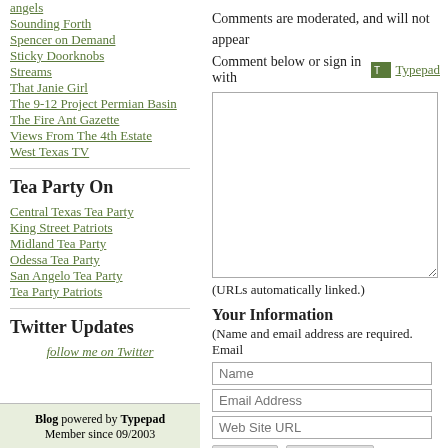angels
Sounding Forth
Spencer on Demand
Sticky Doorknobs
Streams
That Janie Girl
The 9-12 Project Permian Basin
The Fire Ant Gazette
Views From The 4th Estate
West Texas TV
Tea Party On
Central Texas Tea Party
King Street Patriots
Midland Tea Party
Odessa Tea Party
San Angelo Tea Party
Tea Party Patriots
Twitter Updates
follow me on Twitter
Blog powered by Typepad
Member since 09/2003
Comments are moderated, and will not appear
Comment below or sign in with Typepad
(URLs automatically linked.)
Your Information
(Name and email address are required. Email